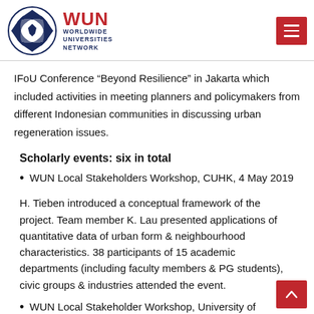WUN — WORLDWIDE UNIVERSITIES NETWORK
IFoU Conference “Beyond Resilience” in Jakarta which included activities in meeting planners and policymakers from different Indonesian communities in discussing urban regeneration issues.
Scholarly events: six in total
WUN Local Stakeholders Workshop, CUHK, 4 May 2019
H. Tieben introduced a conceptual framework of the project. Team member K. Lau presented applications of quantitative data of urban form & neighbourhood characteristics. 38 participants of 15 academic departments (including faculty members & PG students), civic groups & industries attended the event.
WUN Local Stakeholder Workshop, University of